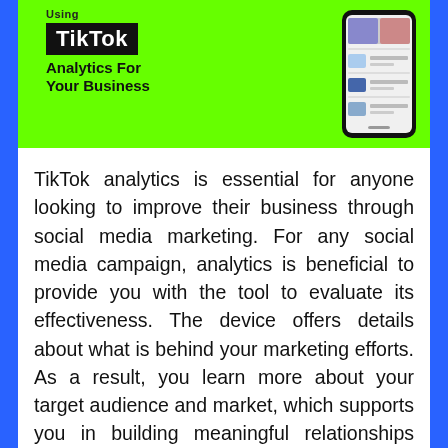[Figure (illustration): Green banner with TikTok Analytics For Your Business text and a phone mockup showing a TikTok-style app interface]
TikTok analytics is essential for anyone looking to improve their business through social media marketing. For any social media campaign, analytics is beneficial to provide you with the tool to evaluate its effectiveness. The device offers details about what is behind your marketing efforts. As a result, you learn more about your target audience and market, which supports you in building meaningful relationships with the customer. You can also start to buy TikTok followers to upgrade your